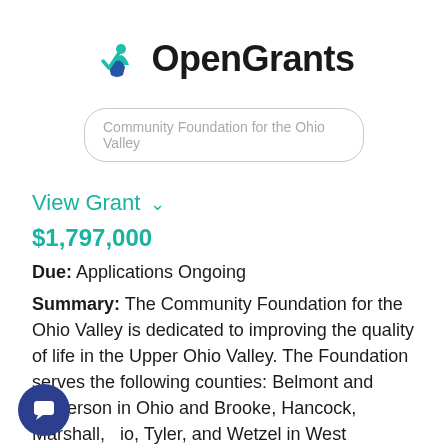[Figure (logo): OpenGrants logo with teal checkmark/person icon and bold black text 'OpenGrants']
Community Foundation for the Ohio Valley
View Grant
$1,797,000
Due: Applications Ongoing
Summary: The Community Foundation for the Ohio Valley is dedicated to improving the quality of life in the Upper Ohio Valley. The Foundation serves the following counties: Belmont and Jefferson in Ohio and Brooke, Hancock, Marshall, Ohio, Tyler, and Wetzel in West Virginia.The Foundation offers the following competitive